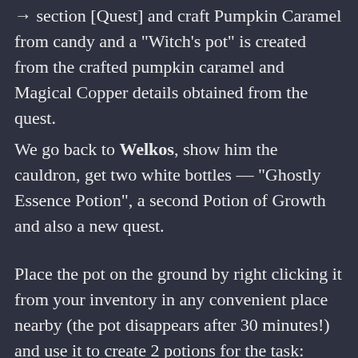→ section [Quest] and craft Pumpkin Caramel from candy and a "Witch's pot" is created from the crafted pumpkin caramel and Magical Copper details obtained from the quest.
We go back to Welkos, show him the cauldron, get two white bottles — "Ghostly Essence Potion", a second Potion of Growth and also a new quest.
Place the pot on the ground by right clicking it from your inventory in any convenient place nearby (the pot disappears after 30 minutes!) and use it to create 2 potions for the task: Honor Elixir (medicinal powder — 10 units and Ghostly Essence Potion obtained from Welkos) and Vocation Elixir (ground grain-10 units and Ghostly